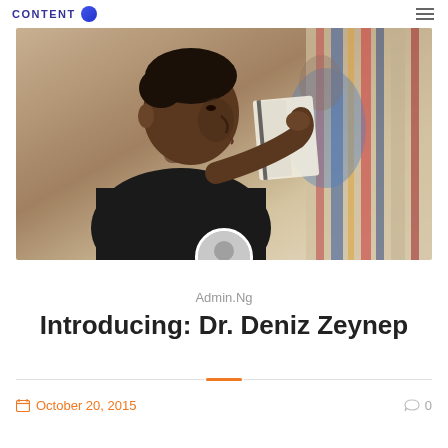CONTENT
[Figure (photo): Young Black man reading a book in a library with bookshelves in background, another person in blue shirt visible behind him]
Admin.Ng
Introducing: Dr. Deniz Zeynep
October 20, 2015
0